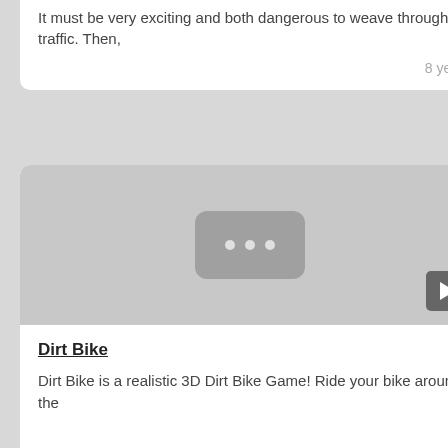Highway Racer vs Police Cars
It must be very exciting and both dangerous to weave through the traffic. Then,
8 years ago
[Figure (screenshot): Video thumbnail placeholder with three dots and a play button]
Dirt Bike
Dirt Bike is a realistic 3D Dirt Bike Game! Ride your bike around the
8 years ago